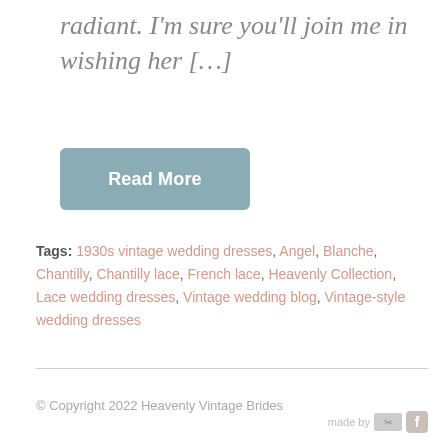radiant. I'm sure you'll join me in wishing her […]
Read More
Tags: 1930s vintage wedding dresses, Angel, Blanche, Chantilly, Chantilly lace, French lace, Heavenly Collection, Lace wedding dresses, Vintage wedding blog, Vintage-style wedding dresses
Terms   Privacy & Cookies
© Copyright 2022 Heavenly Vintage Brides
made by [logo] [facebook]